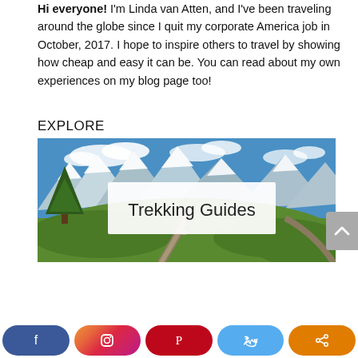Hi everyone! I'm Linda van Atten, and I've been traveling around the globe since I quit my corporate America job in October, 2017. I hope to inspire others to travel by showing how cheap and easy it can be. You can read about my own experiences on my blog page too!
EXPLORE
[Figure (photo): Mountain alpine landscape with green meadows, a path, snow-capped peaks and blue sky, with a white overlay box containing the text 'Trekking Guides']
[Figure (infographic): Social media share buttons: Facebook (blue), Instagram (gradient), Pinterest (red), Twitter (light blue), Share (orange)]